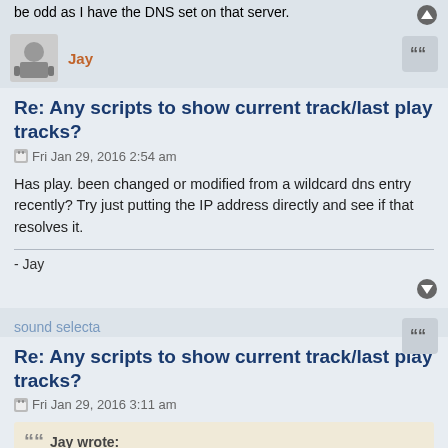be odd as I have the DNS set on that server.
Jay
Re: Any scripts to show current track/last play tracks?
Fri Jan 29, 2016 2:54 am
Has play. been changed or modified from a wildcard dns entry recently? Try just putting the IP address directly and see if that resolves it.
- Jay
sound selecta
Re: Any scripts to show current track/last play tracks?
Fri Jan 29, 2016 3:11 am
Jay wrote: